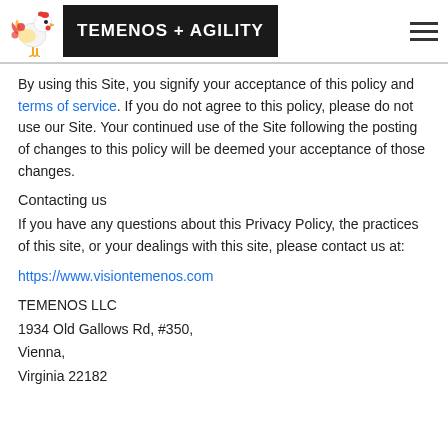TEMENOS + AGILITY
By using this Site, you signify your acceptance of this policy and terms of service. If you do not agree to this policy, please do not use our Site. Your continued use of the Site following the posting of changes to this policy will be deemed your acceptance of those changes.
Contacting us
If you have any questions about this Privacy Policy, the practices of this site, or your dealings with this site, please contact us at:
https://www.visiontemenos.com
TEMENOS LLC
1934 Old Gallows Rd, #350,
Vienna,
Virginia 22182